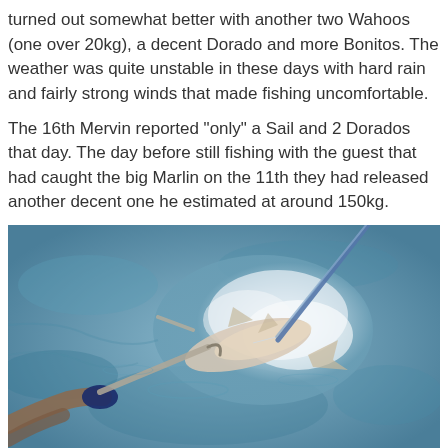turned out somewhat better with another two Wahoos (one over 20kg), a decent Dorado and more Bonitos. The weather was quite unstable in these days with hard rain and fairly strong winds that made fishing uncomfortable.
The 16th Mervin reported "only" a Sail and 2 Dorados that day. The day before still fishing with the guest that had caught the big Marlin on the 11th they had released another decent one he estimated at around 150kg.
[Figure (photo): Photo of a large fish (Marlin) being released into the ocean water, with a person's gloved hand holding a gaff/hook visible at the bottom left, and the fish splashing in blue ocean water with a fishing rod visible at the top right.]